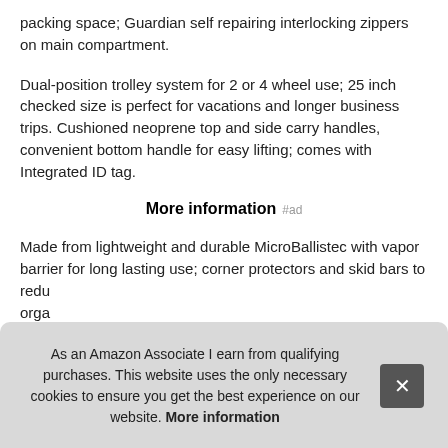packing space; Guardian self repairing interlocking zippers on main compartment.
Dual-position trolley system for 2 or 4 wheel use; 25 inch checked size is perfect for vacations and longer business trips. Cushioned neoprene top and side carry handles, convenient bottom handle for easy lifting; comes with Integrated ID tag.
More information #ad
Made from lightweight and durable MicroBallistec with vapor barrier for long lasting use; corner protectors and skid bars to redu orga sho stor
As an Amazon Associate I earn from qualifying purchases. This website uses the only necessary cookies to ensure you get the best experience on our website. More information